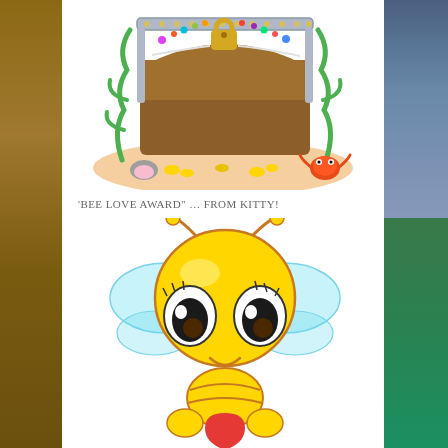[Figure (illustration): Cartoon treasure chest on sand with gems, pearls, seaweed, a crab, and a clam shell]
'BEE LOVE AWARD' … FROM KITTY!
[Figure (illustration): Cute cartoon bee with big eyes holding a red heart, light blue wings, yellow body]